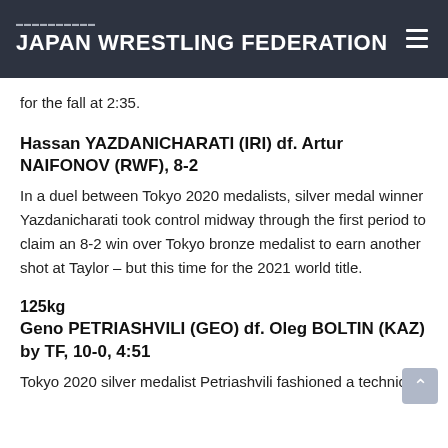JAPAN WRESTLING FEDERATION
for the fall at 2:35.
Hassan YAZDANICHARATI (IRI) df. Artur NAIFONOV (RWF), 8-2
In a duel between Tokyo 2020 medalists, silver medal winner Yazdanicharati took control midway through the first period to claim an 8-2 win over Tokyo bronze medalist to earn another shot at Taylor – but this time for the 2021 world title.
125kg
Geno PETRIASHVILI (GEO) df. Oleg BOLTIN (KAZ) by TF, 10-0, 4:51
Tokyo 2020 silver medalist Petriashvili fashioned a technical